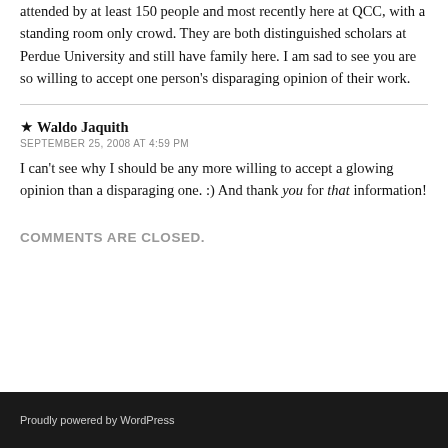attended by at least 150 people and most recently here at QCC, with a standing room only crowd. They are both distinguished scholars at Perdue University and still have family here. I am sad to see you are so willing to accept one person's disparaging opinion of their work.
★ Waldo Jaquith
SEPTEMBER 25, 2008 AT 4:59 PM
I can't see why I should be any more willing to accept a glowing opinion than a disparaging one. :) And thank you for that information!
COMMENTS ARE CLOSED.
Proudly powered by WordPress